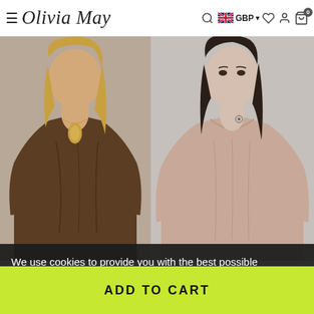Olivia May — GBP — navigation header
[Figure (photo): Woman wearing a brown linen top with a gold teardrop pendant necklace, photographed from mid-torso up against a grey background]
[Figure (photo): Woman wearing a blush/dusty pink linen top with a small tattoo on her neck, photographed from mid-torso up against a grey background]
OLIVIA MAY
TBA
We use cookies to provide you with the best possible experience personalised to you. If you select 'Accept' you agree to the use of
ADD TO CART